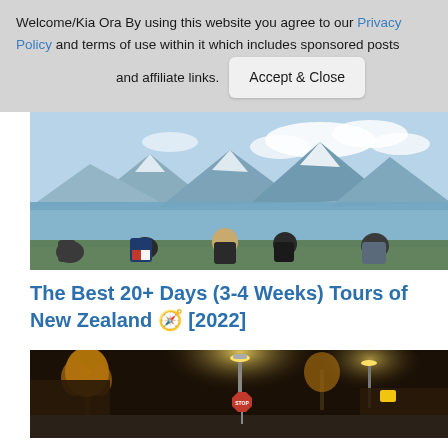Welcome/Kia Ora By using this website you agree to our Privacy Policy and terms of use within it which includes sponsored posts and affiliate links. [Accept & Close]
[Figure (photo): People viewed from behind standing at the edge of a lake with dramatic snow-capped mountains in the background, likely Queenstown New Zealand.]
The Best 20+ Days (3-4 Weeks) Tours of New Zealand 🧭 [2022]
[Figure (photo): Night scene of a street with illuminated trees, a stop sign, and street lights in what appears to be a town in New Zealand.]